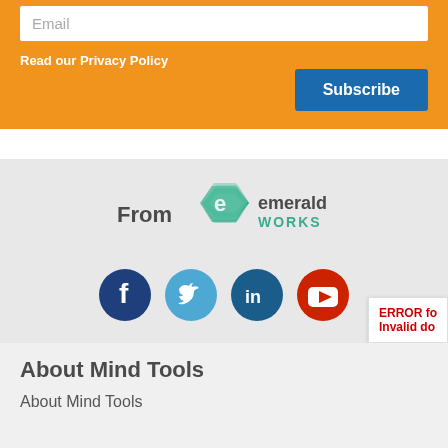Email
Read our Privacy Policy
Subscribe
[Figure (logo): Emerald Works logo with hexagonal 'e' icon in teal/green and text 'emerald WORKS']
[Figure (infographic): Social media icons: Facebook, Twitter, LinkedIn, YouTube]
ERROR fo
Invalid do
About Mind Tools
About Mind Tools